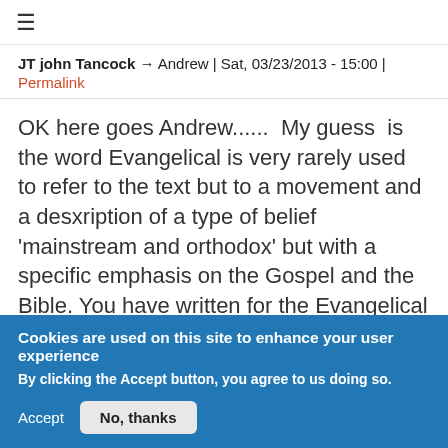≡
JT john Tancock → Andrew | Sat, 03/23/2013 - 15:00 | Permalink
OK here goes Andrew......  My guess  is the word Evangelical is very rarely used to refer to the text but to a movement and a desxription of a type of belief 'mainstream and orthodox' but with a specific emphasis on the Gospel and the Bible. You have written for the Evangelical Alliance ...pretty clear what that means lol!
Cookies are used on this site to enhance your user experience
By clicking the Accept button, you agree to us doing so.
Accept  No, thanks